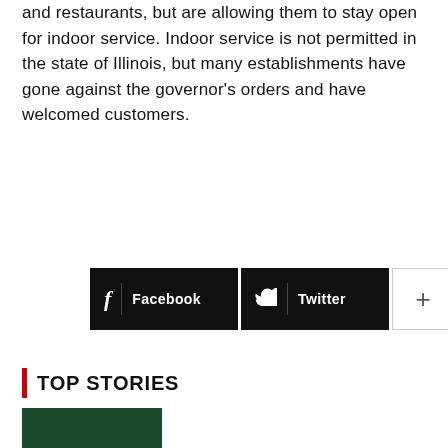and restaurants, but are allowing them to stay open for indoor service. Indoor service is not permitted in the state of Illinois, but many establishments have gone against the governor's orders and have welcomed customers.
[Figure (infographic): Social share buttons: Facebook (black), Twitter (black), and a plus/more button (white with border)]
TOP STORIES